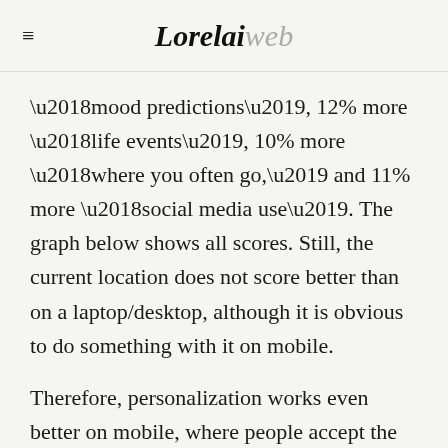LorelaiWeb
‘mood predictions’, 12% more ‘life events’, 10% more ‘where you often go,’ and 11% more ‘social media use’. The graph below shows all scores. Still, the current location does not score better than on a laptop/desktop, although it is obvious to do something with it on mobile.
Therefore, personalization works even better on mobile, where people accept the use of data more and are also more